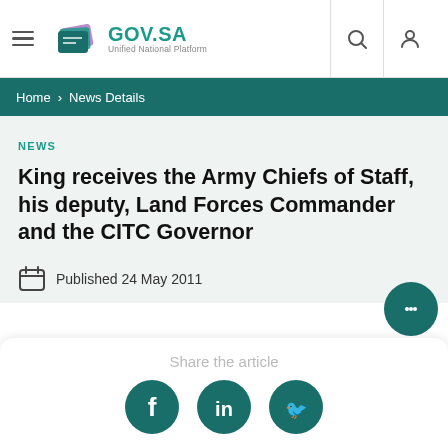GOV.SA Unified National Platform
Home > News Details
NEWS
King receives the Army Chiefs of Staff, his deputy, Land Forces Commander and the CITC Governor
Published 24 May 2011
Share the article